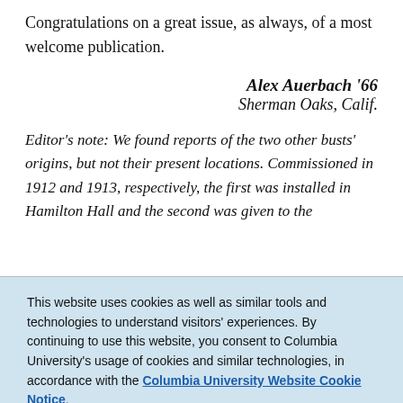Congratulations on a great issue, as always, of a most welcome publication.
Alex Auerbach '66
Sherman Oaks, Calif.
Editor's note: We found reports of the two other busts' origins, but not their present locations. Commissioned in 1912 and 1913, respectively, the first was installed in Hamilton Hall and the second was given to the
This website uses cookies as well as similar tools and technologies to understand visitors' experiences. By continuing to use this website, you consent to Columbia University's usage of cookies and similar technologies, in accordance with the Columbia University Website Cookie Notice.
OK, I agree